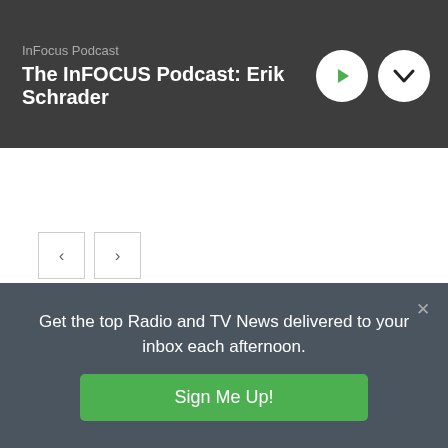InFocus Podcast
The InFOCUS Podcast: Erik Schrader
[Figure (other): Play button (green triangle) circle icon and chevron-down circle icon in header]
[Figure (other): Navigation left arrow button and right arrow button]
Your Account
Login
Get the top Radio and TV News delivered to your inbox each afternoon.
Sign Me Up!